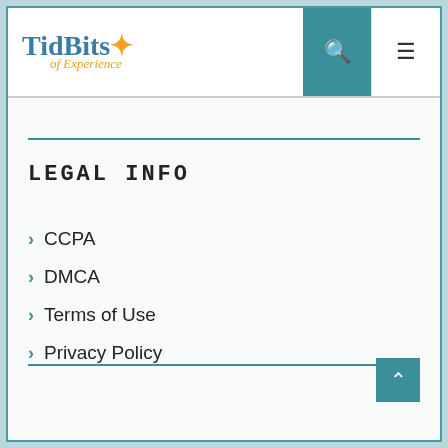TidBits of Experience — navigation header with search and menu buttons
LEGAL INFO
CCPA
DMCA
Terms of Use
Privacy Policy